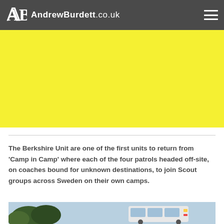AndrewBurdett.co.uk
[Figure (other): Yellow banner/advertisement area]
The Berkshire Unit are one of the first units to return from 'Camp in Camp' where each of the four patrols headed off-site, on coaches bound for unknown destinations, to join Scout groups across Sweden on their own camps.
[Figure (photo): Partial photo showing a coach/bus and trees at bottom of page]